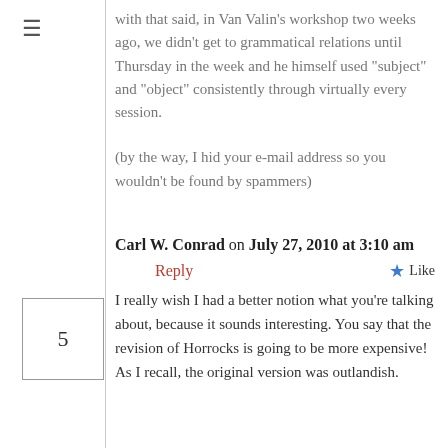with that said, in Van Valin's workshop two weeks ago, we didn't get to grammatical relations until Thursday in the week and he himself used "subject" and "object" consistently through virtually every session.
(by the way, I hid your e-mail address so you wouldn't be found by spammers)
Carl W. Conrad on July 27, 2010 at 3:10 am
Reply  Like
I really wish I had a better notion what you're talking about, because it sounds interesting. You say that the revision of Horrocks is going to be more expensive! As I recall, the original version was outlandish.